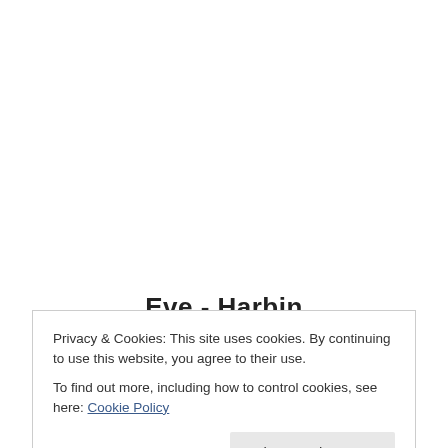Eve - Harbin
Privacy & Cookies: This site uses cookies. By continuing to use this website, you agree to their use.
To find out more, including how to control cookies, see here: Cookie Policy
Close and accept